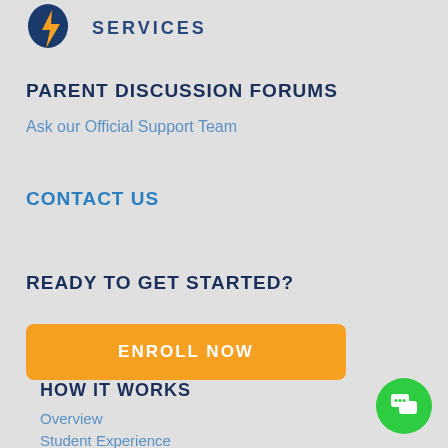[Figure (logo): Lightning bolt logo with 'SERVICES' text in navy blue caps]
PARENT DISCUSSION FORUMS
Ask our Official Support Team
CONTACT US
READY TO GET STARTED?
ENROLL NOW
HOW IT WORKS
Overview
Student Experience